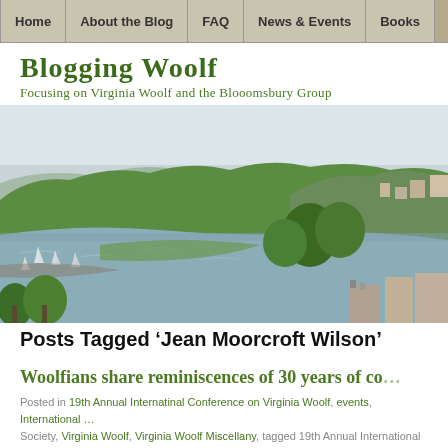Home | About the Blog | FAQ | News & Events | Books
Blogging Woolf
Focusing on Virginia Woolf and the Blooomsbury Group
[Figure (photo): Aerial/elevated landscape photo showing a river estuary with sailboats, green wooded hillsides, and buildings on the far right, under a hazy sky.]
Posts Tagged ‘Jean Moorcroft Wilson’
Woolfians share reminiscences of 30 years of co…
Posted in 19th Annual Internatinal Conference on Virginia Woolf, events, International … Society, Virginia Woolf, Virginia Woolf Miscellany, tagged 19th Annual International Co… Woolf, Cecil Woolf, events, International Virginia Woolf Society, Jean Moorcroft Wilson… Miscellany, Woolf and the City on Monday 24, January 2022! | Leave a Comment »